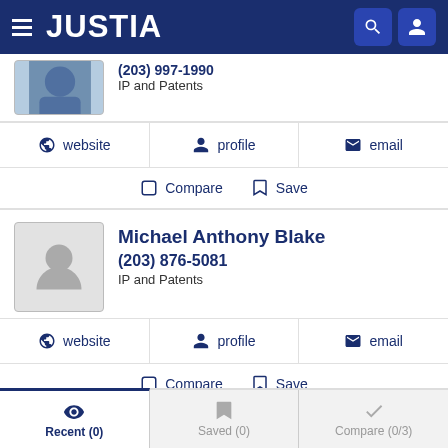JUSTIA
(203) 997-1990
IP and Patents
website  profile  email
Compare  Save
Michael Anthony Blake
(203) 876-5081
IP and Patents
website  profile  email
Compare  Save
Recent (0)  Saved (0)  Compare (0/3)